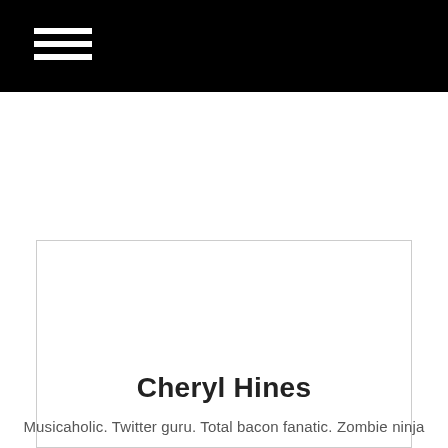[Figure (photo): Profile photo of a young Asian woman with shoulder-length black hair, wearing a dark top, smiling slightly, dark background]
Cheryl Hines
Musicaholic. Twitter guru. Total bacon fanatic. Zombie ninja